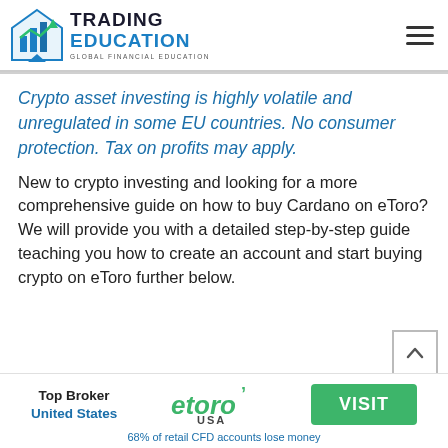TRADING EDUCATION — GLOBAL FINANCIAL EDUCATION
Crypto asset investing is highly volatile and unregulated in some EU countries. No consumer protection. Tax on profits may apply.
New to crypto investing and looking for a more comprehensive guide on how to buy Cardano on eToro? We will provide you with a detailed step-by-step guide teaching you how to create an account and start buying crypto on eToro further below.
[Figure (logo): eToro USA logo and Top Broker United States banner advertisement with VISIT button]
68% of retail CFD accounts lose money